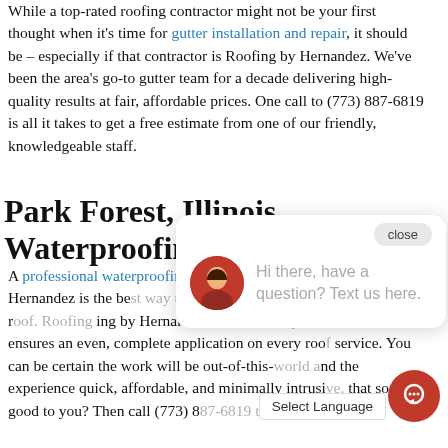While a top-rated roofing contractor might not be your first thought when it's time for gutter installation and repair, it should be – especially if that contractor is Roofing by Hernandez. We've been the area's go-to gutter team for a decade delivering high-quality results at fair, affordable prices. One call to (773) 887-6819 is all it takes to get a free estimate from one of our friendly, knowledgeable staff.
Park Forest, Illinois Waterproofing
A professional waterproofing treatment from Roofing by Hernandez is the be[st way to add long-lasting protection to your r[oof]. Roofing by Hernandez uses d[urable products] and ensures an even, complete application on every roo[f] service. You can be certain the work will be out-of-this-[world] and the experience quick, affordable, and minimally intrusi[ve. Does] that sound good to you? Then call (773) 8[87-6819 to get a fr]ee
[Figure (screenshot): Chat popup overlay with close button, avatar photo of a woman, and message 'Hi there, have a question? Text us here.' Also shows a red chat button and a 'Select Language' bar at the bottom right.]